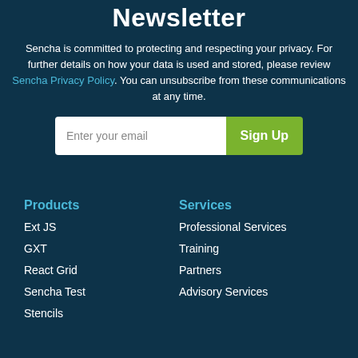Newsletter
Sencha is committed to protecting and respecting your privacy. For further details on how your data is used and stored, please review Sencha Privacy Policy. You can unsubscribe from these communications at any time.
Enter your email | Sign Up
Products
Ext JS
GXT
React Grid
Sencha Test
Stencils
Services
Professional Services
Training
Partners
Advisory Services